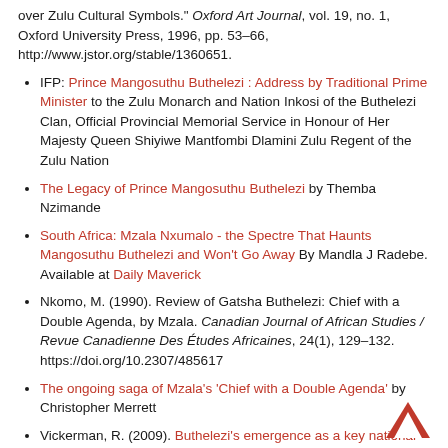over Zulu Cultural Symbols." Oxford Art Journal, vol. 19, no. 1, Oxford University Press, 1996, pp. 53–66, http://www.jstor.org/stable/1360651.
IFP: Prince Mangosuthu Buthelezi : Address by Traditional Prime Minister to the Zulu Monarch and Nation Inkosi of the Buthelezi Clan, Official Provincial Memorial Service in Honour of Her Majesty Queen Shiyiwe Mantfombi Dlamini Zulu Regent of the Zulu Nation
The Legacy of Prince Mangosuthu Buthelezi by Themba Nzimande
South Africa: Mzala Nxumalo - the Spectre That Haunts Mangosuthu Buthelezi and Won't Go Away By Mandla J Radebe. Available at Daily Maverick
Nkomo, M. (1990). Review of Gatsha Buthelezi: Chief with a Double Agenda, by Mzala. Canadian Journal of African Studies / Revue Canadienne Des Études Africaines, 24(1), 129–132. https://doi.org/10.2307/485617
The ongoing saga of Mzala's 'Chief with a Double Agenda' by Christopher Merrett
Vickerman, R. (2009). Buthelezi's emergence as a key national politician in Apartheid South Africa and his decline in status